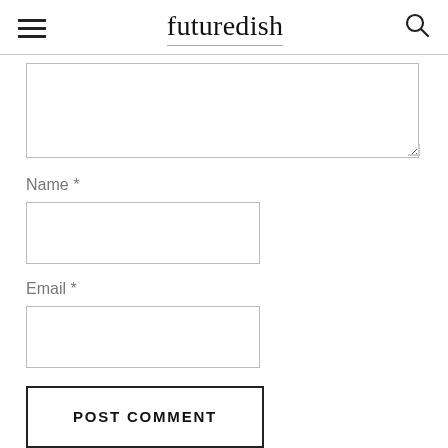futuredish
[Comment textarea]
Name *
[Name input field]
Email *
[Email input field]
POST COMMENT